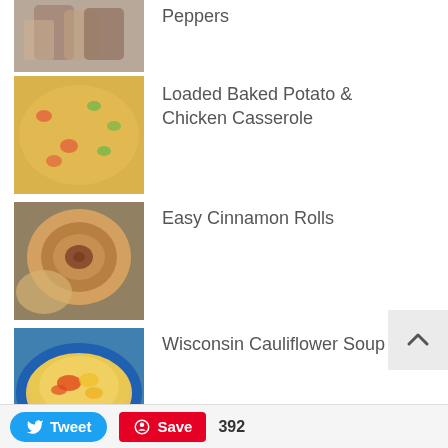Peppers
Loaded Baked Potato & Chicken Casserole
Easy Cinnamon Rolls
Wisconsin Cauliflower Soup
Nutella French Toast with Strawberries
White Chocolate Peanut Butter Krispies
Tweet   Save   392